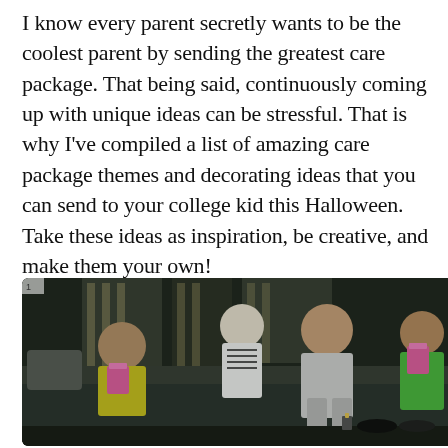I know every parent secretly wants to be the coolest parent by sending the greatest care package. That being said, continuously coming up with unique ideas can be stressful. That is why I've compiled a list of amazing care package themes and decorating ideas that you can send to your college kid this Halloween. Take these ideas as inspiration, be creative, and make them your own!
[Figure (photo): Group of young people sitting on a couch in costumes, some holding pink popcorn boxes, watching something in a darkened room with Halloween decorations in the background.]